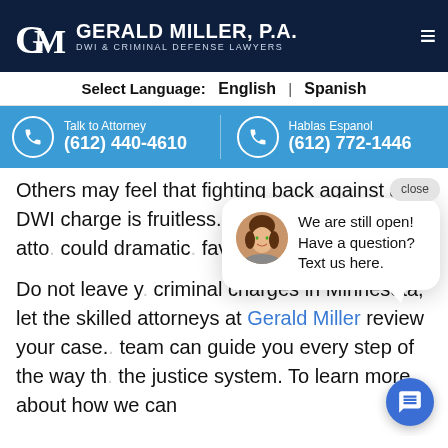Gerald Miller, P.A. — DWI & Criminal Defense Lawyers
Select Language: English | Spanish
Talk to Attorney (612) 440-4610 | Hablas Espanol (612) 772-1446
Others may feel that fighting back against a DWI charge is fruitless. The reality is that an atto... could dramat... favorable outc...
[Figure (screenshot): Chat popup with avatar photo of a woman, text: We are still open! Have a question? Text us here. Close button visible top right.]
Do not leave y... criminal charges in Minnesota, let the skilled attorneys at Gerald Miller review your case. ... team can guide you every step of the way th... the justice system. To learn more about how we can